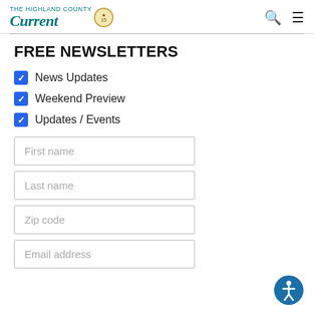THE HIGHLAND CURRENT logo with navigation icons
FREE NEWSLETTERS
News Updates
Weekend Preview
Updates / Events
First name
Last name
Zip code
Email address